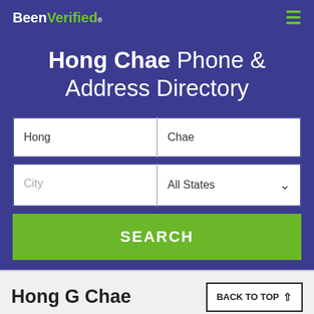BeenVerified.com
Hong Chae Phone & Address Directory
First name: Hong, Last name: Chae, City: (empty), All States dropdown, SEARCH button
Hong G Chae
BACK TO TOP ↑